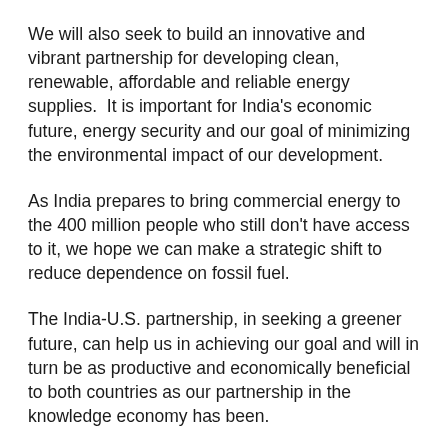We will also seek to build an innovative and vibrant partnership for developing clean, renewable, affordable and reliable energy supplies.  It is important for India's economic future, energy security and our goal of minimizing the environmental impact of our development.
As India prepares to bring commercial energy to the 400 million people who still don't have access to it, we hope we can make a strategic shift to reduce dependence on fossil fuel.
The India-U.S. partnership, in seeking a greener future, can help us in achieving our goal and will in turn be as productive and economically beneficial to both countries as our partnership in the knowledge economy has been.
The Indian government has set up various missions to deal with the impact of climate change in India, and one of these pertains to solar energy, where we hope to be able to build our solar energy generation to about 20,000 megawatts by 2020.